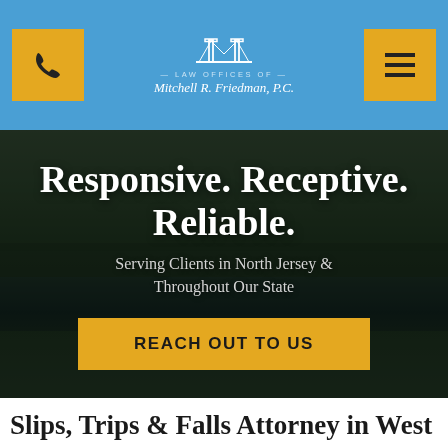Law Offices of Mitchell R. Friedman, P.C.
[Figure (screenshot): Hero section with aerial photo background of New Jersey suburban area with lake/river. Dark overlay with large white bold text.]
Responsive. Receptive. Reliable.
Serving Clients in North Jersey & Throughout Our State
REACH OUT TO US
Slips, Trips & Falls Attorney in West...